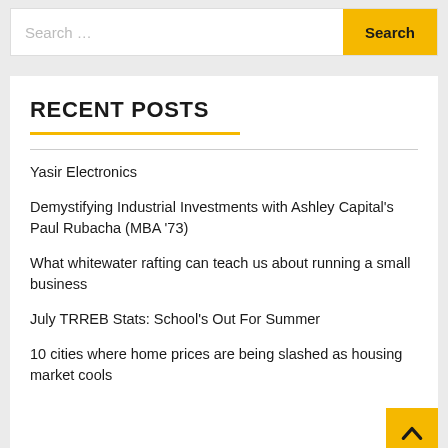[Figure (screenshot): Search bar with text input placeholder 'Search ...' and a yellow 'Search' button]
RECENT POSTS
Yasir Electronics
Demystifying Industrial Investments with Ashley Capital's Paul Rubacha (MBA '73)
What whitewater rafting can teach us about running a small business
July TRREB Stats: School's Out For Summer
10 cities where home prices are being slashed as housing market cools
ARCHIVES